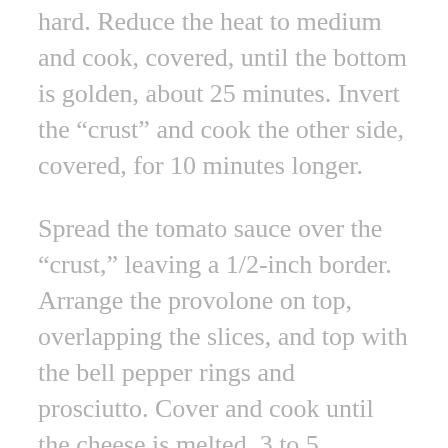hard. Reduce the heat to medium and cook, covered, until the bottom is golden, about 25 minutes. Invert the “crust” and cook the other side, covered, for 10 minutes longer.
Spread the tomato sauce over the “crust,” leaving a 1/2-inch border. Arrange the provolone on top, overlapping the slices, and top with the bell pepper rings and prosciutto. Cover and cook until the cheese is melted, 3 to 5 minutes. Cut into wedges and garnish with the basil sprigs.